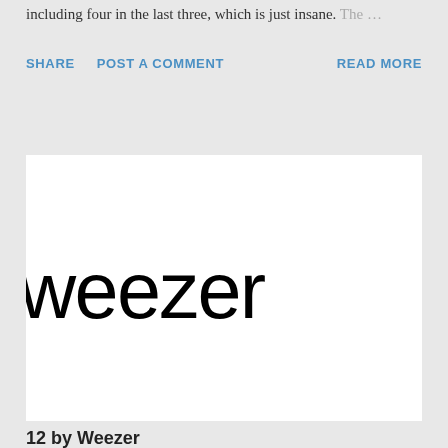including four in the last three, which is just insane. The …
SHARE   POST A COMMENT   READ MORE
[Figure (logo): Weezer band logo in large black sans-serif text on white background, cropped so the full word 'weezer' is partially visible (shows 'weezel' or 'weeze' depending on crop)]
12 by Weezer